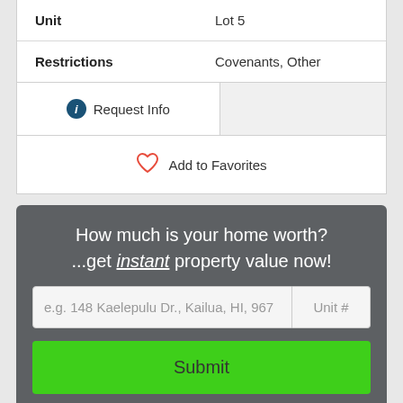| Field | Value |
| --- | --- |
| Unit | Lot 5 |
| Restrictions | Covenants, Other |
Request Info
Add to Favorites
How much is your home worth? ...get instant property value now!
e.g. 148 Kaelepulu Dr., Kailua, HI, 967
Unit #
Submit